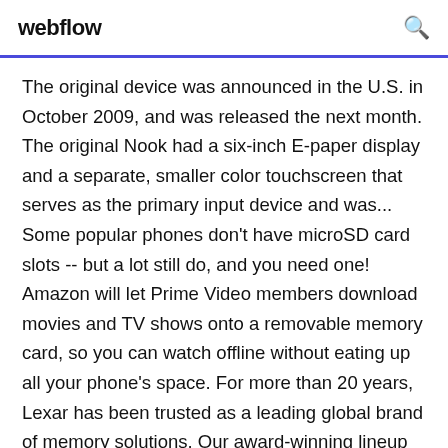webflow
The original device was announced in the U.S. in October 2009, and was released the next month. The original Nook had a six-inch E-paper display and a separate, smaller color touchscreen that serves as the primary input device and was... Some popular phones don't have microSD card slots -- but a lot still do, and you need one! Amazon will let Prime Video members download movies and TV shows onto a removable memory card, so you can watch offline without eating up all your phone's space. For more than 20 years, Lexar has been trusted as a leading global brand of memory solutions. Our award-winning lineup includes memory